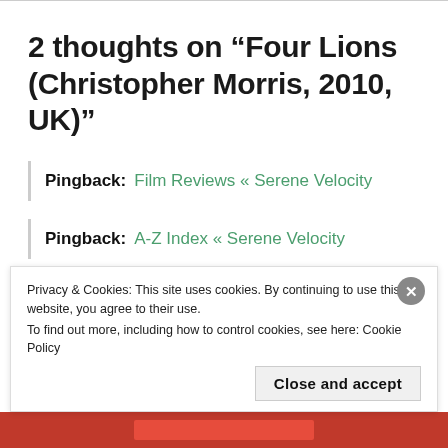2 thoughts on “Four Lions (Christopher Morris, 2010, UK)”
Pingback: Film Reviews « Serene Velocity
Pingback: A-Z Index « Serene Velocity
Privacy & Cookies: This site uses cookies. By continuing to use this website, you agree to their use.
To find out more, including how to control cookies, see here: Cookie Policy
Close and accept